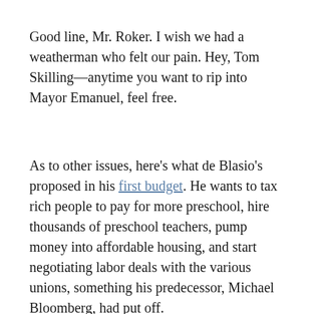Good line, Mr. Roker. I wish we had a weatherman who felt our pain. Hey, Tom Skilling—anytime you want to rip into Mayor Emanuel, feel free.
As to other issues, here's what de Blasio's proposed in his first budget. He wants to tax rich people to pay for more preschool, hire thousands of preschool teachers, pump money into affordable housing, and start negotiating labor deals with the various unions, something his predecessor, Michael Bloomberg, had put off.